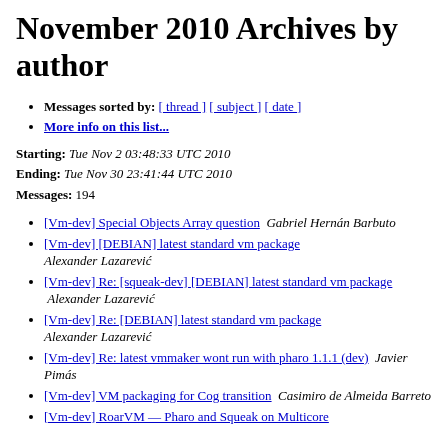November 2010 Archives by author
Messages sorted by: [ thread ] [ subject ] [ date ]
More info on this list...
Starting: Tue Nov 2 03:48:33 UTC 2010
Ending: Tue Nov 30 23:41:44 UTC 2010
Messages: 194
[Vm-dev] Special Objects Array question  Gabriel Hernán Barbuto
[Vm-dev] [DEBIAN] latest standard vm package  Alexander Lazarević
[Vm-dev] Re: [squeak-dev] [DEBIAN] latest standard vm package  Alexander Lazarević
[Vm-dev] Re: [DEBIAN] latest standard vm package  Alexander Lazarević
[Vm-dev] Re: latest vmmaker wont run with pharo 1.1.1 (dev)  Javier Pimás
[Vm-dev] VM packaging for Cog transition  Casimiro de Almeida Barreto
[Vm-dev] RoarVM — Pharo and Squeak on Multicore